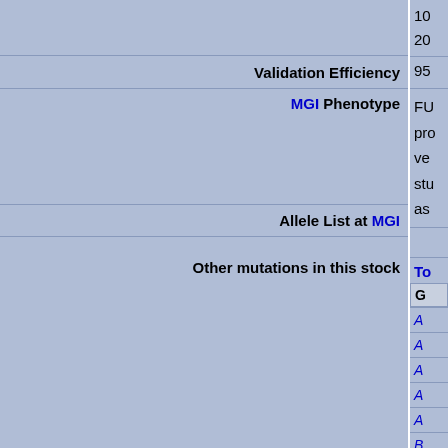| Label | Value |
| --- | --- |
|  | 10
20 |
| Validation Efficiency | 95 |
| MGI Phenotype | FU... pro... ve... stu... as... |
| Allele List at MGI |  |
| Other mutations in this stock | To...
G...
A...
A...
A...
A...
A...
B... |